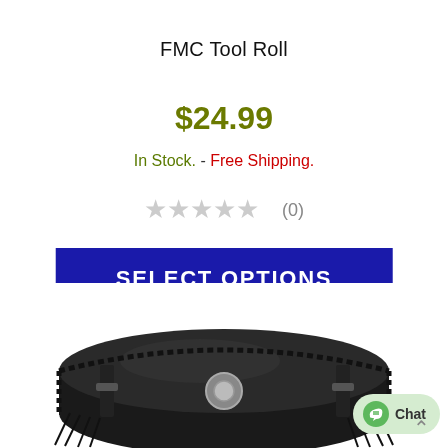FMC Tool Roll
$24.99
In Stock.  -  Free Shipping.
★★★★★ (0)
SELECT OPTIONS
[Figure (photo): Black leather motorcycle tool roll bag with fringe, buckle straps, and a central chrome twist-lock closure, shown from above at an angle.]